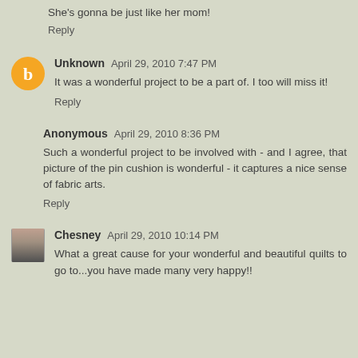She's gonna be just like her mom!
Reply
Unknown April 29, 2010 7:47 PM
It was a wonderful project to be a part of. I too will miss it!
Reply
Anonymous April 29, 2010 8:36 PM
Such a wonderful project to be involved with - and I agree, that picture of the pin cushion is wonderful - it captures a nice sense of fabric arts.
Reply
Chesney April 29, 2010 10:14 PM
What a great cause for your wonderful and beautiful quilts to go to...you have made many very happy!!